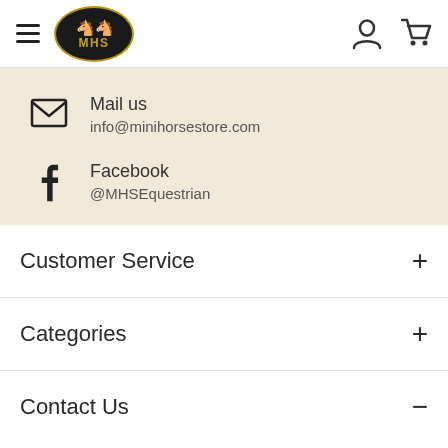MHS navigation header with hamburger menu, MHS logo, person icon, and cart icon
Mail us
info@minihorsestore.com
Facebook
@MHSEquestrian
Customer Service +
Categories +
Contact Us −